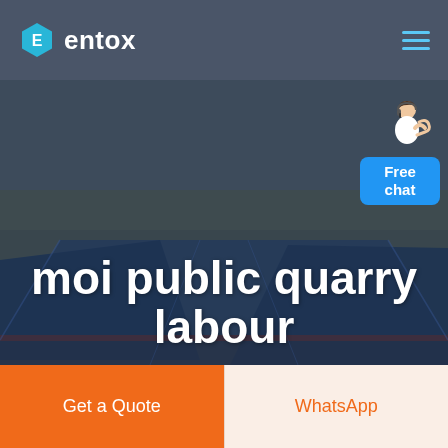[Figure (logo): Entox logo: hexagon icon with letter E and text 'entox' in white]
[Figure (photo): Aerial view of industrial warehouse buildings with blue metal roofs, overlaid with dark semi-transparent tint. Hero image background.]
moi public quarry labour
[Figure (illustration): Customer service representative figure with Free chat button overlay]
Get a Quote
WhatsApp